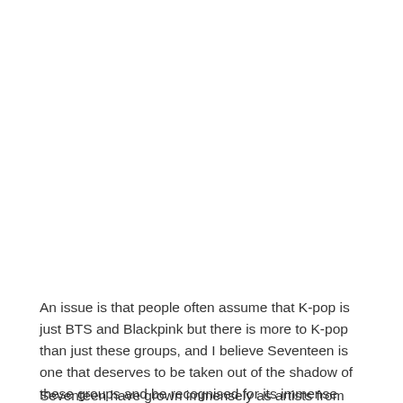An issue is that people often assume that K-pop is just BTS and Blackpink but there is more to K-pop than just these groups, and I believe Seventeen is one that deserves to be taken out of the shadow of these groups and be recognised for its immense individual uniqueness and talent.
Seventeen have grown immensely as artists from becoming the second K-